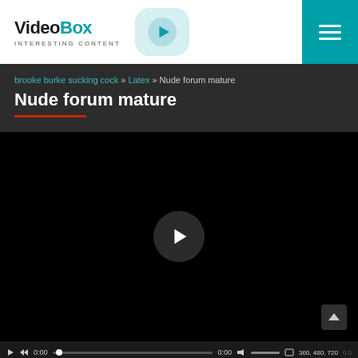VideoBox — INTERESTING CONTENT
brooke burke sucking cock » Latex » Nude forum mature
Nude forum mature
[Figure (screenshot): Video player with black screen and play button, showing controls bar with play, rewind, time 0:00, progress bar, volume, quality options 360 480 720]